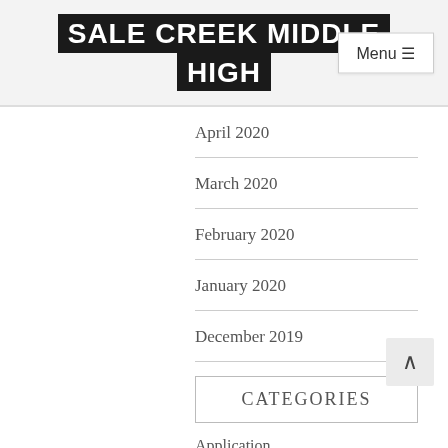SALE CREEK MIDDLE HIGH
April 2020
March 2020
February 2020
January 2020
December 2019
CATEGORIES
Application